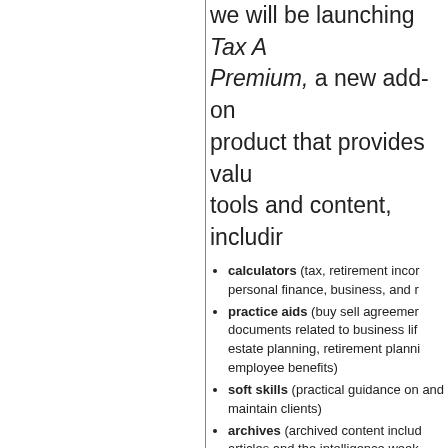we will be launching Tax A Premium, a new add-on product that provides valuable tools and content, including
calculators (tax, retirement income, personal finance, business, and more)
practice aids (buy sell agreements, documents related to business life events, estate planning, retirement planning, and employee benefits)
soft skills (practical guidance on how to get and maintain clients)
archives (archived content including articles and the intelligence week...)
As we get closer to launch, we'll provide you more information on pricing and how to subscribe.
By the way subscribers, the Texas A&M graduate program focusing on tax, wealth, and risk management is accepting applications for the fall. Maximum enrollment for a...